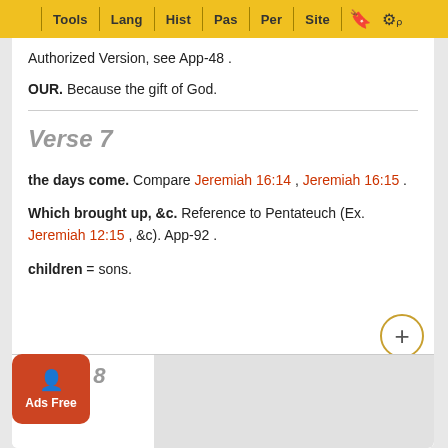Tools | Lang | Hist | Pas | Per | Site
Authorized Version, see App-48 .
OUR. Because the gift of God.
Verse 7
the days come. Compare Jeremiah 16:14 , Jeremiah 16:15 .
Which brought up, &c. Reference to Pentateuch (Ex. Jeremiah 12:15 , &c). App-92 .
children = sons.
Verse 8
the ho